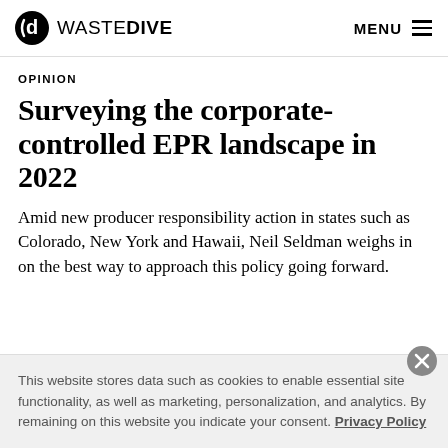WASTE DIVE  MENU
OPINION
Surveying the corporate-controlled EPR landscape in 2022
Amid new producer responsibility action in states such as Colorado, New York and Hawaii, Neil Seldman weighs in on the best way to approach this policy going forward.
This website stores data such as cookies to enable essential site functionality, as well as marketing, personalization, and analytics. By remaining on this website you indicate your consent. Privacy Policy